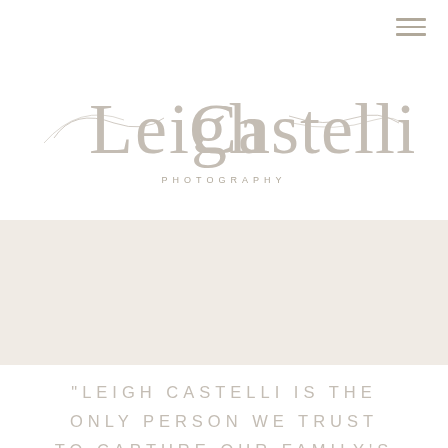[Figure (logo): Leigh Castelli Photography logo with cursive script and decorative swirls]
[Figure (photo): Beige/off-white banner area placeholder]
"LEIGH CASTELLI IS THE ONLY PERSON WE TRUST TO CAPTURE OUR FAMILY'S